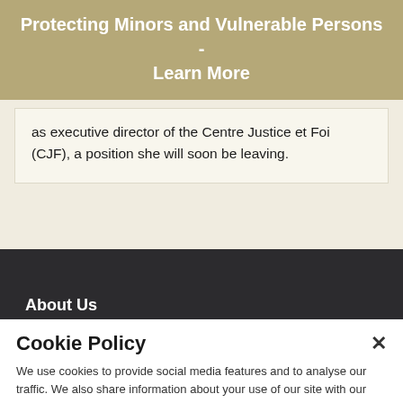Protecting Minors and Vulnerable Persons - Learn More
as executive director of the Centre Justice et Foi (CJF), a position she will soon be leaving.
About Us
Cookie Policy
We use cookies to provide social media features and to analyse our traffic. We also share information about your use of our site with our social media and analytics partners.
Cookies Settings
Accept All Cookies